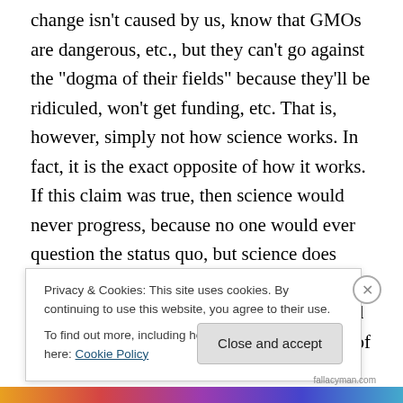change isn't caused by us, know that GMOs are dangerous, etc., but they can't go against the "dogma of their fields" because they'll be ridiculed, won't get funding, etc. That is, however, simply not how science works. In fact, it is the exact opposite of how it works. If this claim was true, then science would never progress, because no one would ever question the status quo, but science does progress because we constantly question the status quo. Indeed, challenging the accepted wisdom of our fields is the job description of a scientist. That's what we do. No one is going to give you funding to test something that
Privacy & Cookies: This site uses cookies. By continuing to use this website, you agree to their use.
To find out more, including how to control cookies, see here: Cookie Policy